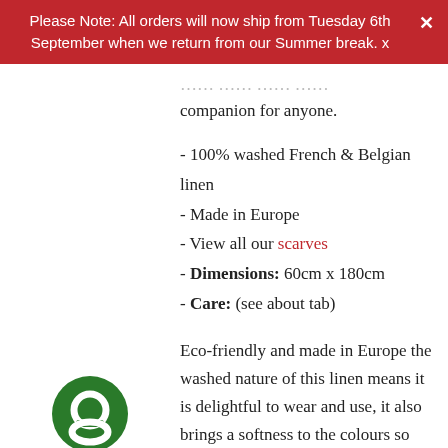Please Note: All orders will now ship from Tuesday 6th September when we return from our Summer break. x
companion for anyone.
- 100% washed French & Belgian linen
- Made in Europe
- View all our scarves
- Dimensions: 60cm x 180cm
- Care: (see about tab)
Eco-friendly and made in Europe the washed nature of this linen means it is delightful to wear and use, it also brings a softness to the colours so you can mix and match any of the shades together, even in unexpected combinations.